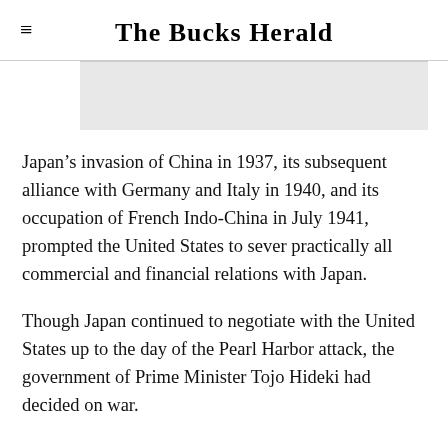The Bucks Herald
[Figure (other): Grey rectangular image placeholder banner]
Japan’s invasion of China in 1937, its subsequent alliance with Germany and Italy in 1940, and its occupation of French Indo-China in July 1941, prompted the United States to sever practically all commercial and financial relations with Japan.
Though Japan continued to negotiate with the United States up to the day of the Pearl Harbor attack, the government of Prime Minister Tojo Hideki had decided on war.